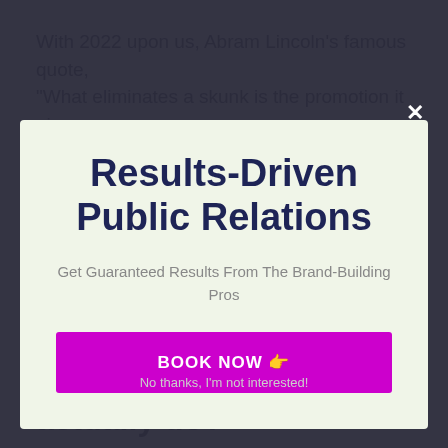With 2022 upon us, Abram Lincoln's famous quote, "What eliminates a skunk is the promotion it gives
Results-Driven Public Relations
Get Guaranteed Results From The Brand-Building Pros
BOOK NOW 👉
No thanks, I'm not interested!
What do PR agencies actually do?